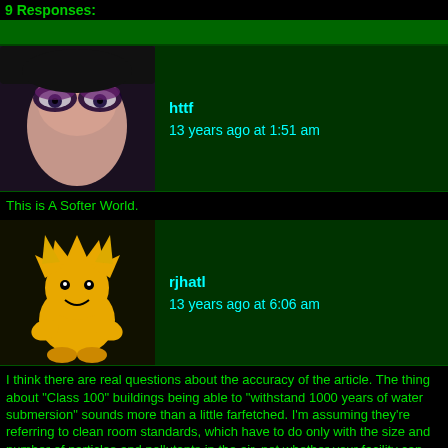9 Responses:
httf
13 years ago at 1:51 am
This is A Softer World.
rjhatl
13 years ago at 6:06 am
I think there are real questions about the accuracy of the article. The thing about "Class 100" buildings being able to "withstand 1000 years of water submersion" sounds more than a little farfetched. I'm assuming they're referring to clean room standards, which have to do only with the size and number of particles and pollutants in the air, not whether your facility can withstand an attack from Gamera.
A comment on the Gizmodo page also points out that pictures of the moon rock facility in Wikipedia show the rocks being kept in individually-sealed containers that are filled with nitrogen. Perhaps the contaminated moon rocks that were returned from outside experiments are kept in a very different environment (the safe-inside-a-safe scenario in the article), but